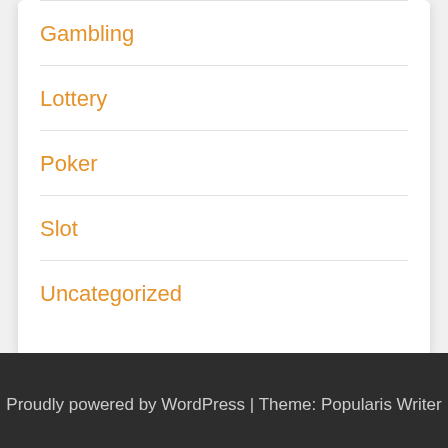Gambling
Lottery
Poker
Slot
Uncategorized
Proudly powered by WordPress | Theme: Popularis Writer